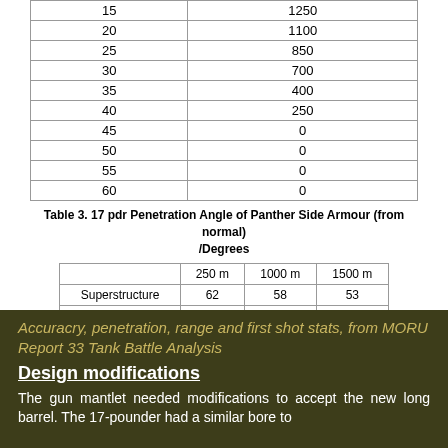|  |  |
| --- | --- |
| 15 | 1250 |
| 20 | 1100 |
| 25 | 850 |
| 30 | 700 |
| 35 | 400 |
| 40 | 250 |
| 45 | 0 |
| 50 | 0 |
| 55 | 0 |
| 60 | 0 |
Table 3. 17 pdr Penetration Angle of Panther Side Armour (from normal) /Degrees
|  | 250 m | 1000 m | 1500 m |
| --- | --- | --- | --- |
| Superstructure | 62 | 58 | 53 |
| Hull | 69.5 | 64 | 62 |
Accuracry, penetration, range and first shot stats, from MORU Report 33 Tank Battle Analysis
Design modifications
The gun mantlet needed modifications to accept the new long barrel. The 17-pounder had a similar bore to